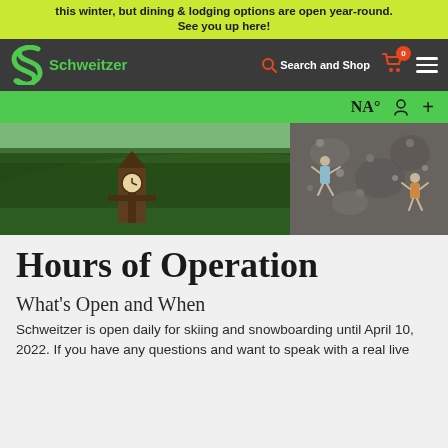this winter, but dining & lodging options are open year-round. See you up here!
[Figure (screenshot): Schweitzer ski resort website navigation bar with green S logo, Search and Shop link, cart icon with 0 badge, and hamburger menu on dark background]
[Figure (screenshot): Green weather bar showing NA° temperature, person icon, and plus icon]
[Figure (photo): Outdoor summer scene at Schweitzer mountain resort showing a wooden clock tower and people climbing a rock wall, surrounded by green forested mountains]
Hours of Operation
What's Open and When
Schweitzer is open daily for skiing and snowboarding until April 10, 2022. If you have any questions and want to speak with a real live